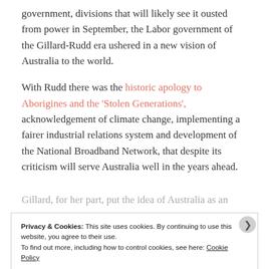government, divisions that will likely see it ousted from power in September, the Labor government of the Gillard-Rudd era ushered in a new vision of Australia to the world.
With Rudd there was the historic apology to Aborigines and the 'Stolen Generations', acknowledgement of climate change, implementing a fairer industrial relations system and development of the National Broadband Network, that despite its criticism will serve Australia well in the years ahead.
Gillard, for her part, put the idea of Australia as an
Privacy & Cookies: This site uses cookies. By continuing to use this website, you agree to their use.
To find out more, including how to control cookies, see here: Cookie Policy